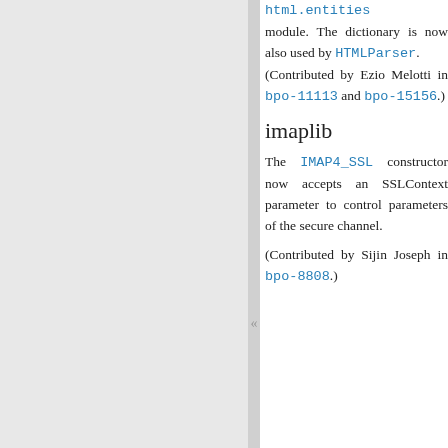html.entities module. The dictionary is now also used by HTMLParser. (Contributed by Ezio Melotti in bpo-11113 and bpo-15156.)
imaplib
The IMAP4_SSL constructor now accepts an SSLContext parameter to control parameters of the secure channel.
(Contributed by Sijin Joseph in bpo-8808.)